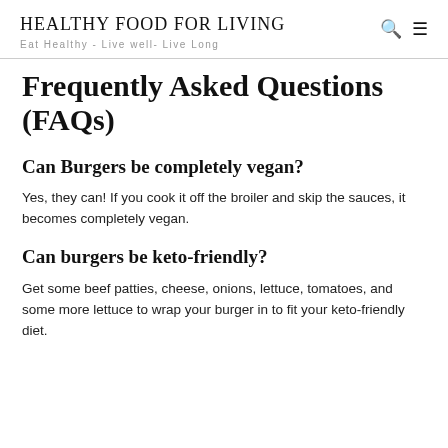HEALTHY FOOD FOR LIVING | Eat Healthy - Live well- Live Long
Frequently Asked Questions (FAQs)
Can Burgers be completely vegan?
Yes, they can! If you cook it off the broiler and skip the sauces, it becomes completely vegan.
Can burgers be keto-friendly?
Get some beef patties, cheese, onions, lettuce, tomatoes, and some more lettuce to wrap your burger in to fit your keto-friendly diet.